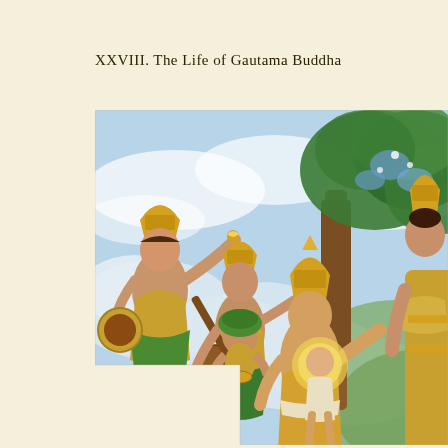XXVIII. The Life of Gautama Buddha
[Figure (photo): A Thai-style Buddhist mural painting depicting scenes from the life of Gautama Buddha. The painting shows celestial beings (devas/apsaras) playing music and making offerings in the clouds above, a tree with green foliage, and the infant Buddha standing on the ground with a golden halo. A large divine figure stands on the right side. The painting is in the traditional Burmese or Thai temple mural style with gold ornamental headdresses, clouds, and lush natural scenery. The image has an irregular cut-out shape showing a white area at the bottom-left.]